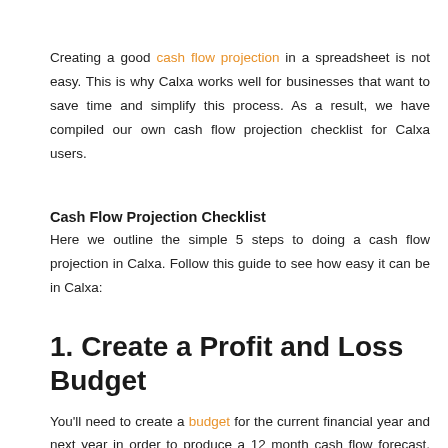Creating a good cash flow projection in a spreadsheet is not easy. This is why Calxa works well for businesses that want to save time and simplify this process. As a result, we have compiled our own cash flow projection checklist for Calxa users.
Cash Flow Projection Checklist
Here we outline the simple 5 steps to doing a cash flow projection in Calxa. Follow this guide to see how easy it can be in Calxa:
1. Create a Profit and Loss Budget
You'll need to create a budget for the current financial year and next year in order to produce a 12 month cash flow forecast. Use